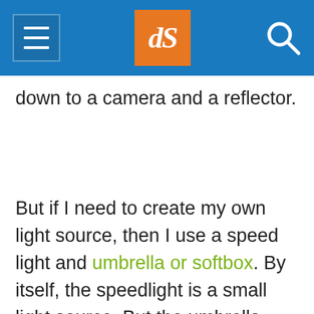dPS navigation header with logo
down to a camera and a reflector.
But if I need to create my own light source, then I use a speed light and umbrella or softbox. By itself, the speedlight is a small light source. But the umbrella converts it into a larger light